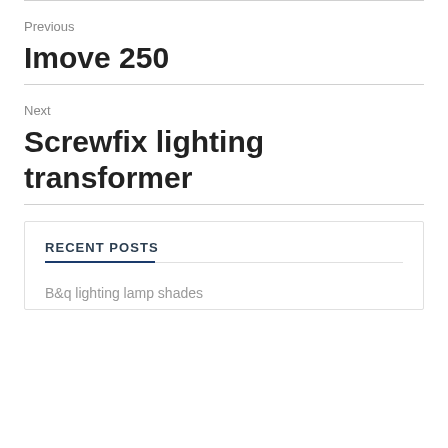Previous
Imove 250
Next
Screwfix lighting transformer
RECENT POSTS
B&q lighting lamp shades